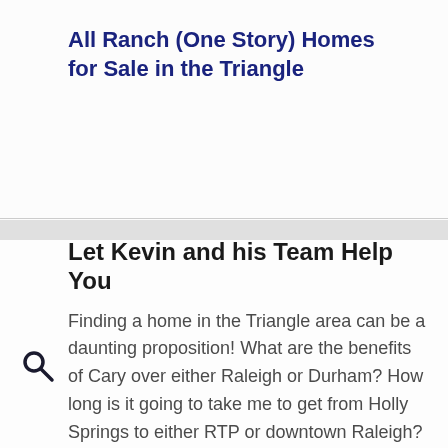All Ranch (One Story) Homes for Sale in the Triangle
Let Kevin and his Team Help You
Finding a home in the Triangle area can be a daunting proposition! What are the benefits of Cary over either Raleigh or Durham? How long is it going to take me to get from Holly Springs to either RTP or downtown Raleigh? What will I ay for a 3 bed, 2 1/2 bath home in Morrisville? Where do I find waterfront homes in the area? These are the type of questions we are asked on a regular basis. For honest, straight forward answers to these and other questions about